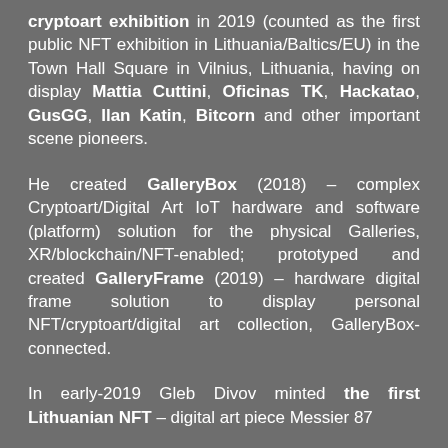cryptoart exhibition in 2019 (counted as the first public NFT exhibition in Lithuania/Baltics/EU) in the Town Hall Square in Vilnius, Lithuania, having on display Mattia Cuttini, Oficinas TK, Hackatao, GusGG, Ilan Katin, Bitcorn and other important scene pioneers.
He created GalleryBox (2018) – complex Cryptoart/Digital Art IoT hardware and software (platform) solution for the physical Galleries, XR/blockchain/NFT-enabled; prototyped and created GalleryFrame (2019) – hardware digital frame solution to display personal NFT/cryptoart/digital art collection, GalleryBox-connected.
In early-2019 Gleb Divov minted the first Lithuanian NFT – digital art piece Messier 87